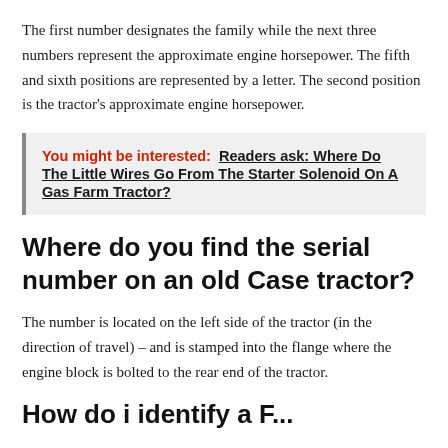The first number designates the family while the next three numbers represent the approximate engine horsepower. The fifth and sixth positions are represented by a letter. The second position is the tractor's approximate engine horsepower.
You might be interested:  Readers ask: Where Do The Little Wires Go From The Starter Solenoid On A Gas Farm Tractor?
Where do you find the serial number on an old Case tractor?
The number is located on the left side of the tractor (in the direction of travel) – and is stamped into the flange where the engine block is bolted to the rear end of the tractor.
How do i identify a F...